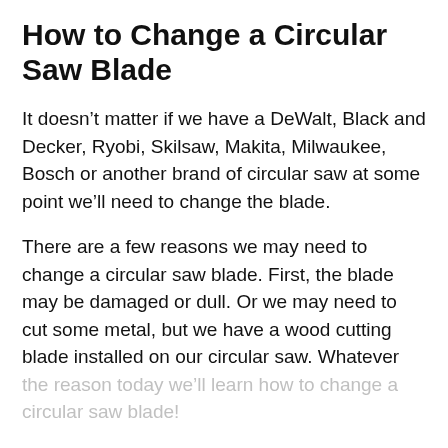How to Change a Circular Saw Blade
It doesn't matter if we have a DeWalt, Black and Decker, Ryobi, Skilsaw, Makita, Milwaukee, Bosch or another brand of circular saw at some point we'll need to change the blade.
There are a few reasons we may need to change a circular saw blade. First, the blade may be damaged or dull. Or we may need to cut some metal, but we have a wood cutting blade installed on our circular saw. Whatever the reason today we'll learn how to change a circular saw blade!